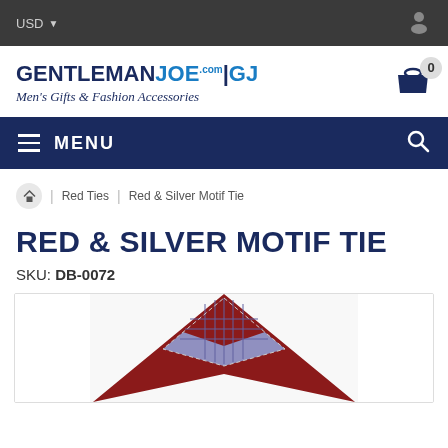USD
[Figure (logo): GentlemanJoe.com GJ logo with tagline Men's Gifts & Fashion Accessories and shopping cart with 0 badge]
MENU
Home | Red Ties | Red & Silver Motif Tie
RED & SILVER MOTIF TIE
SKU: DB-0072
[Figure (photo): Partial product photo of a red and silver motif tie, showing the top pointed end with a diamond/geometric pattern in red and silver/purple]